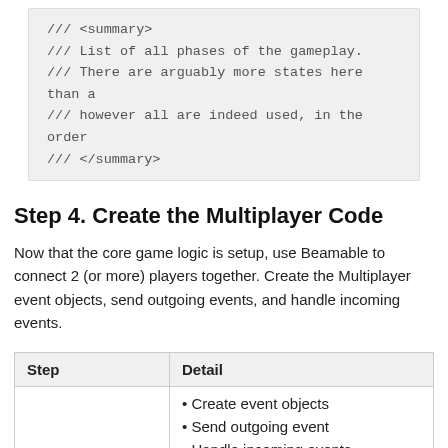[Figure (screenshot): Code block showing XML doc comment lines: /// <summary>, /// List of all phases of the gameplay., /// There are arguably more states here than a, /// however all are indeed used, in the order, /// </summary>]
Step 4. Create the Multiplayer Code
Now that the core game logic is setup, use Beamable to connect 2 (or more) players together. Create the Multiplayer event objects, send outgoing events, and handle incoming events.
| Step | Detail |
| --- | --- |
| 1. Create C# Multiplayer-specific logic | • Create event objects
• Send outgoing event
• Handle incoming events

Note: Its likely that game makers will add multiplayer functionality |